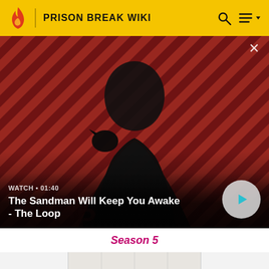PRISON BREAK WIKI
[Figure (screenshot): Video thumbnail showing a man in dark clothes with a raven on his shoulder against a red diagonal striped background. Text overlay reads WATCH 01:40 and title The Sandman Will Keep You Awake - The Loop. A circular play button is visible on the right.]
Season 5
[Figure (screenshot): Gray placeholder card with the text PRECEDING in large black letters on a light grid/map background]